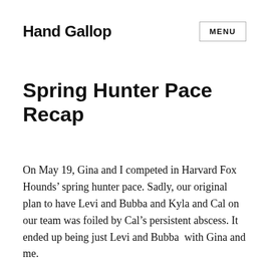Hand Gallop
Spring Hunter Pace Recap
On May 19, Gina and I competed in Harvard Fox Hounds’ spring hunter pace. Sadly, our original plan to have Levi and Bubba and Kyla and Cal on our team was foiled by Cal’s persistent abscess. It ended up being just Levi and Bubba  with Gina and me.